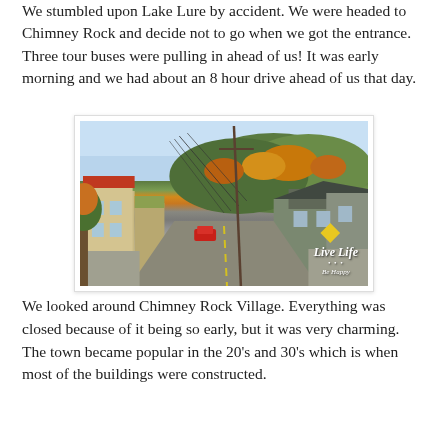We stumbled upon Lake Lure by accident. We were headed to Chimney Rock and decide not to go when we got the entrance. Three tour buses were pulling in ahead of us! It was early morning and we had about an 8 hour drive ahead of us that day.
[Figure (photo): A street view of Chimney Rock Village showing small shops and buildings lining a road, with tree-covered mountains in the background displaying autumn foliage. A watermark reads 'Live Life Be Happy' in the bottom right corner.]
We looked around Chimney Rock Village. Everything was closed because of it being so early, but it was very charming. The town became popular in the 20's and 30's which is when most of the buildings were constructed.